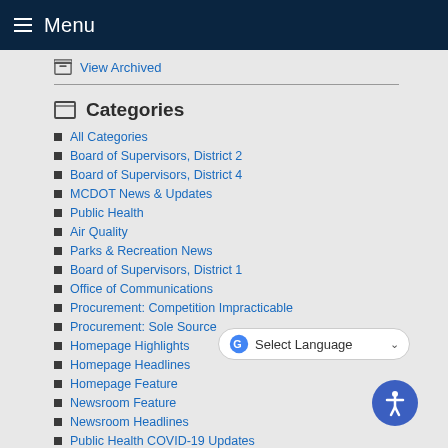Menu
View Archived
Categories
All Categories
Board of Supervisors, District 2
Board of Supervisors, District 4
MCDOT News & Updates
Public Health
Air Quality
Parks & Recreation News
Board of Supervisors, District 1
Office of Communications
Procurement: Competition Impracticable
Procurement: Sole Source
Homepage Highlights
Homepage Headlines
Homepage Feature
Newsroom Feature
Newsroom Headlines
Public Health COVID-19 Updates